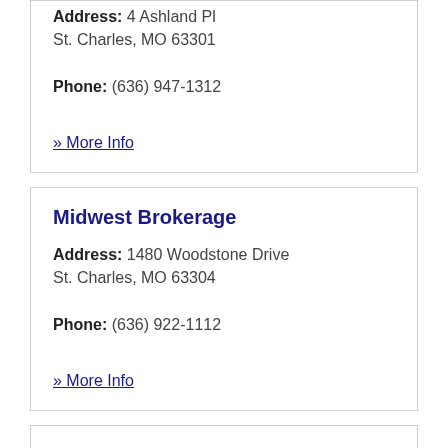Address: 4 Ashland Pl St. Charles, MO 63301
Phone: (636) 947-1312
» More Info
Midwest Brokerage
Address: 1480 Woodstone Drive St. Charles, MO 63304
Phone: (636) 922-1112
» More Info
Money Concepts
Address: 800 1st Capitol Drive St. Charles, MO 63301